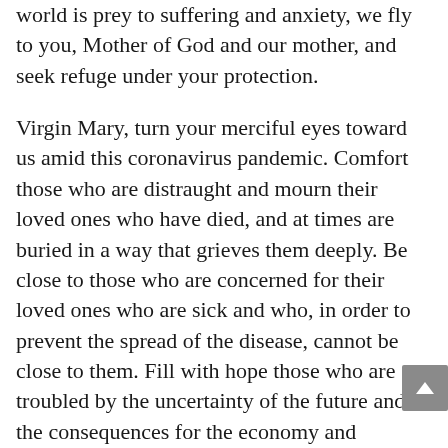world is prey to suffering and anxiety, we fly to you, Mother of God and our mother, and seek refuge under your protection.
Virgin Mary, turn your merciful eyes toward us amid this coronavirus pandemic. Comfort those who are distraught and mourn their loved ones who have died, and at times are buried in a way that grieves them deeply. Be close to those who are concerned for their loved ones who are sick and who, in order to prevent the spread of the disease, cannot be close to them. Fill with hope those who are troubled by the uncertainty of the future and the consequences for the economy and employment.
Mother of God and our Mother, pray for us to God, the father of mercies, that this great suffering may end and that hope and peace may dawn anew. Plead with your divine Son, as you